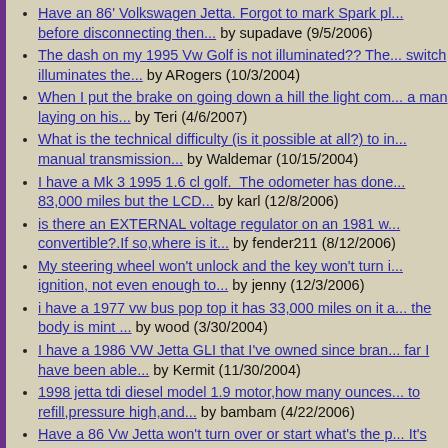Have an 86' Volkswagen Jetta. Forgot to mark Spark pl... before disconnecting then... by supadave (9/5/2006)
The dash on my 1995 Vw Golf is not illuminated?? The... switch illuminates the... by ARogers (10/3/2004)
When I put the brake on going down a hill the light com... a man laying on his... by Teri (4/6/2007)
What is the technical difficulty (is it possible at all?) to in... manual transmission... by Waldemar (10/15/2004)
I have a Mk 3 1995 1.6 cl golf. The odometer has done... 83,000 miles but the LCD... by karl (12/8/2006)
is there an EXTERNAL voltage regulator on an 1981 w... convertible?.If so,where is it... by fender211 (8/12/2006)
My steering wheel won't unlock and the key won't turn i... ignition, not even enough to... by jenny (12/3/2006)
i have a 1977 vw bus pop top it has 33,000 miles on it a... the body is mint ... by wood (3/30/2004)
I have a 1986 VW Jetta GLI that I've owned since bran... far I have been able... by Kermit (11/30/2004)
1998 jetta tdi diesel model 1.9 motor,how many ounces... to refill,pressure high,and... by bambam (4/22/2006)
Have a 86 Vw Jetta won't turn over or start what's the p... It's gas and standard... by Ralph ( Elvis ) (12/5/2004)
what is the timing on the 1998 vr6 gti engine? by rad30... (12/18/2003)
i need a diagram on how to replace timing belt and wat...